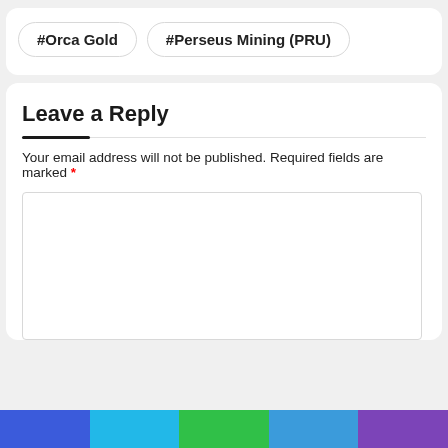#Orca Gold
#Perseus Mining (PRU)
Leave a Reply
Your email address will not be published. Required fields are marked *